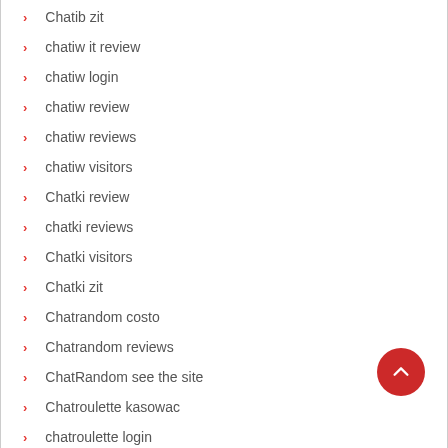Chatib zit
chatiw it review
chatiw login
chatiw review
chatiw reviews
chatiw visitors
Chatki review
chatki reviews
Chatki visitors
Chatki zit
Chatrandom costo
Chatrandom reviews
ChatRandom see the site
Chatroulette kasowac
chatroulette login
chatroulette review